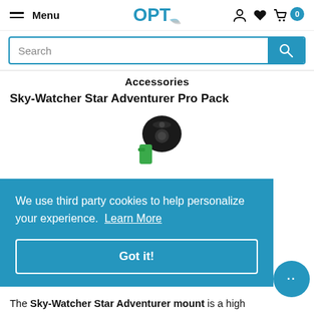Menu | OPT logo | account | wishlist | cart (0)
Search
Accessories
Sky-Watcher Star Adventurer Pro Pack
[Figure (photo): Photo of Sky-Watcher Star Adventurer Pro Pack mount, black and green device on white background]
We use third party cookies to help personalize your experience. Learn More
Got it!
The Sky-Watcher Star Adventurer mount is a high